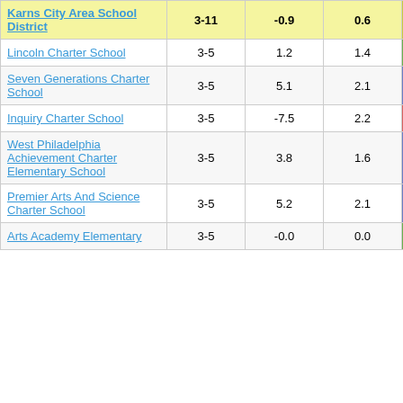| School | Grades | Col1 | Col2 | Score |
| --- | --- | --- | --- | --- |
| Karns City Area School District | 3-11 | -0.9 | 0.6 | -1.37 |
| Lincoln Charter School | 3-5 | 1.2 | 1.4 | 0.81 |
| Seven Generations Charter School | 3-5 | 5.1 | 2.1 | 2.46 |
| Inquiry Charter School | 3-5 | -7.5 | 2.2 | -3.42 |
| West Philadelphia Achievement Charter Elementary School | 3-5 | 3.8 | 1.6 | 2.40 |
| Premier Arts And Science Charter School | 3-5 | 5.2 | 2.1 | 2.52 |
| Arts Academy Elementary | 3-5 | -0.0 | 0.0 | 0.44 |